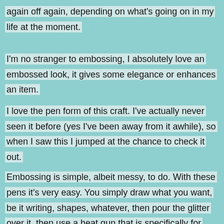again off again, depending on what's going on in my life at the moment.
I'm no stranger to embossing, I absolutely love an embossed look, it gives some elegance or enhances an item.
I love the pen form of this craft. I've actually never seen it before (yes I've been away from it awhile), so when I saw this I jumped at the chance to check it out.
Embossing is simple, albeit messy, to do. With these pens it's very easy. You simply draw what you want, be it writing, shapes, whatever, then pour the glitter over it, then use a heat gun that is specifically for crafting. Then you have a beautiful handmade item to give to someone. Alot of people love homemade gifts, it means a lot that you took time out of your day to create something.
This embossing set came with a black and white pen, and gold glitter. This is acid free so safe to use on delicate papers.
If you have any crafters in your circle of friends and family, this would be a great gift. I would definitely recommend this product to